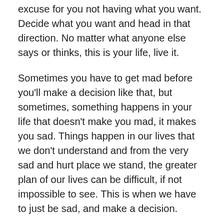excuse for you not having what you want. Decide what you want and head in that direction. No matter what anyone else says or thinks, this is your life, live it.
Sometimes you have to get mad before you'll make a decision like that, but sometimes, something happens in your life that doesn't make you mad, it makes you sad. Things happen in our lives that we don't understand and from the very sad and hurt place we stand, the greater plan of our lives can be difficult, if not impossible to see. This is when we have to just be sad, and make a decision.
A little over 1 year ago, my sweet wiener dog, Zupe made his transition. He was sick for about a month before we knew it was time to let him go. During that month, we did everything we knew to do energetically and physically to heal and “save” our little dog, but in the end, it was his time. When it finally became clear we were not going to be